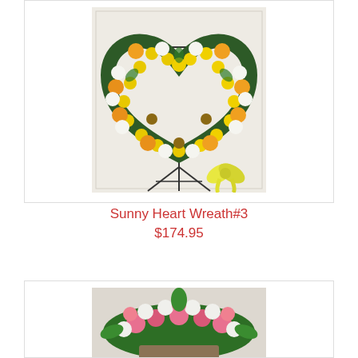[Figure (photo): A heart-shaped floral wreath with yellow, orange, and white flowers including roses, chrysanthemums, and sunflowers, displayed on a metal easel stand with a yellow ribbon bow at the bottom, against a white wall background.]
Sunny Heart Wreath#3
$174.95
[Figure (photo): A pink and white floral arrangement with roses, carnations, and other flowers, partially visible at the bottom of the page.]